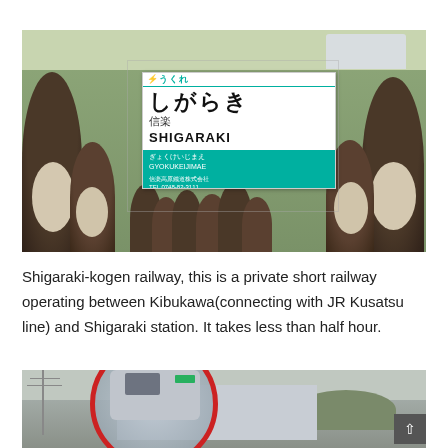[Figure (photo): Photo of multiple tanuki (raccoon dog) ceramic statues displayed in front of a Shigaraki-kogen railway station sign reading 'しがらき / 信楽 / SHIGARAKI' with a teal and white sign design. The statues are brown and white, wearing straw hats.]
Shigaraki-kogen railway, this is a private short railway operating between Kibukawa(connecting with JR Kusatsu line) and Shigaraki station. It takes less than half hour.
[Figure (photo): Partially visible photo of a train reflected in a round red-framed convex mirror at a railway station. The train is gray/silver colored. In the bottom right corner there is a reCAPTCHA widget overlay and a scroll-to-top button.]